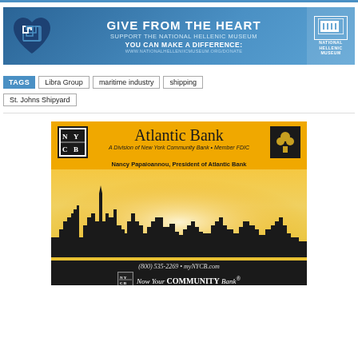[Figure (infographic): National Hellenic Museum donation banner ad with Greek key heart logo on blue gradient background. Text: GIVE FROM THE HEART, SUPPORT THE NATIONAL HELLENIC MUSEUM, YOU CAN MAKE A DIFFERENCE: WWW.NATIONALHELLENIMUSEUM.ORG/DONATE]
TAGS  Libra Group  maritime industry  shipping
St. Johns Shipyard
[Figure (infographic): Atlantic Bank advertisement on yellow/gold background featuring city skyline silhouette. Text: Atlantic Bank, A Division of New York Community Bank • Member FDIC, Nancy Papaioannou, President of Atlantic Bank, (800) 535-2269 • myNYCB.com, Now Your COMMUNITY Bank®]